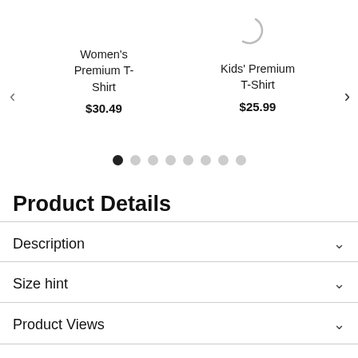[Figure (other): Loading spinner (arc/circle) above Kids' Premium T-Shirt product]
[Figure (other): Carousel showing Women's Premium T-Shirt at $30.49 and Kids' Premium T-Shirt at $25.99 with left/right navigation arrows and 8 dot indicators]
Product Details
Description
Size hint
Product Views